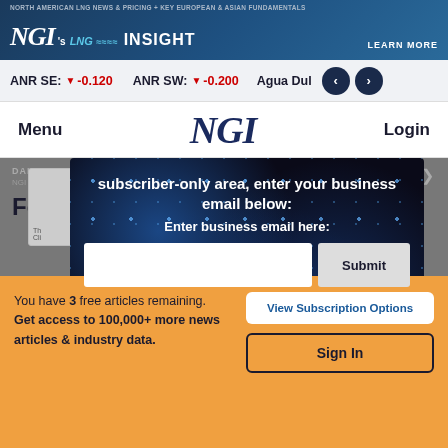[Figure (screenshot): NGI's LNG Insight banner advertisement with dark blue background, showing the NGI logo and 'LNG INSIGHT' text with a 'LEARN MORE' button. Top text reads 'NORTH AMERICAN LNG NEWS & PRICING + KEY EUROPEAN & ASIAN FUNDAMENTALS'.]
ANR SE: ▼ -0.120   ANR SW: ▼ -0.200   Agua Dul< [navigation arrows]
NGI
Menu
Login
subscriber-only area, enter your business email below:
Enter business email here:
Submit
You have 3 free articles remaining. Get access to 100,000+ more news articles & industry data.
View Subscription Options
Sign In